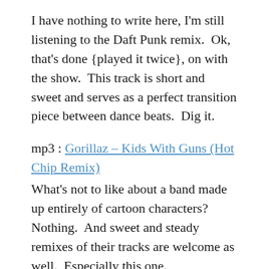I have nothing to write here, I'm still listening to the Daft Punk remix.  Ok, that's done {played it twice}, on with the show.  This track is short and sweet and serves as a perfect transition piece between dance beats.  Dig it.
mp3 : Gorillaz – Kids With Guns (Hot Chip Remix)
What's not to like about a band made up entirely of cartoon characters?  Nothing.  And sweet and steady remixes of their tracks are welcome as well.  Especially this one.
mp3 : John Legend and Andre 3000 – Green Light (MSTRKRFT Remix)
I've died and gone to heaven {twice} and this is